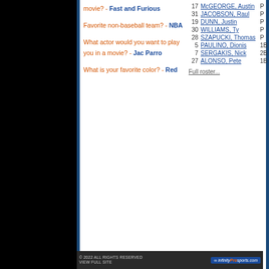Favorite movie? - Fast and Furious
Favorite non-baseball team? - NBA
What actor would you want to play you in a movie? - Jac Parro
What is your favorite color? - Red
| # | Name | Pos |
| --- | --- | --- |
| 17 | McGEORGE, Austin | P |
| 31 | JACOBSON, Raul | P |
| 19 | DUNN, Justin | P |
| 30 | WILLIAMS, Ty | P |
| 28 | SZAPUCKI, Thomas | P |
| 5 | PAULINO, Dionis | 1B |
| 7 | SERGAKIS, Nick | 2B |
| 27 | ALONSO, Pete | 1B |
Full roster...
Tickets
Schedule
Roster
Standings
News
Text Alerts
Directions
© 2022 ALL RIGHTS RESERVED VIEW FULL SITE